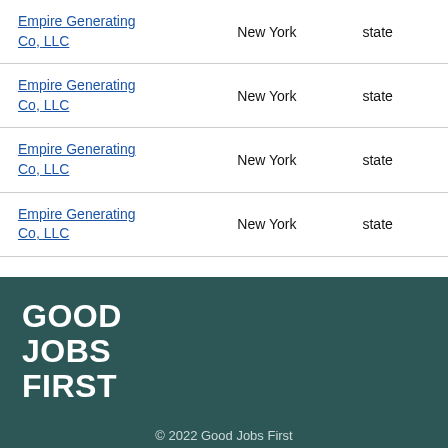| Company | State | Level |
| --- | --- | --- |
| Empire Generating Co, LLC | New York | state |
| Empire Generating Co, LLC | New York | state |
| Empire Generating Co, LLC | New York | state |
| Empire Generating Co, LLC | New York | state |
[Figure (logo): Good Jobs First logo in white bold text on dark teal background]
© 2022 Good Jobs First
Terms of Service   Privacy Policy